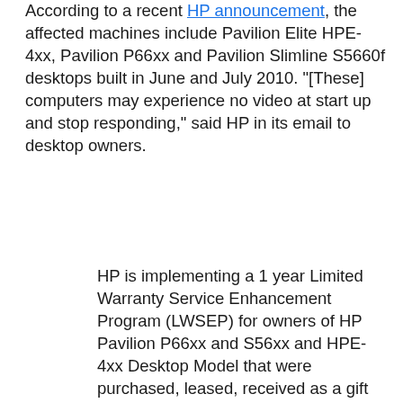According to a recent HP announcement, the affected machines include Pavilion Elite HPE-4xx, Pavilion P66xx and Pavilion Slimline S5660f desktops built in June and July 2010. "[These] computers may experience no video at start up and stop responding," said HP in its email to desktop owners.
HP is implementing a 1 year Limited Warranty Service Enhancement Program (LWSEP) for owners of HP Pavilion P66xx and S56xx and HPE-4xx Desktop Model that were purchased, leased, received as a gift or otherwise acquired in the United States and Canada (the “Program Models”). During the LWSEP, owners of the Program Models whose original HP Limited Warranty has expired and who have experienced or who, during the LWSEP period, experience a system board failure can receive, at no cost to them, a system board replacement by contacting HP before the 1 year LWSEP expires. Owners whose Program Model is still covered by HP’s Limited Warranty can receive any necessary